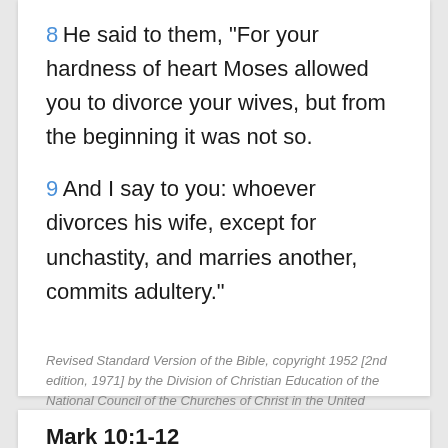8 He said to them, "For your hardness of heart Moses allowed you to divorce your wives, but from the beginning it was not so.
9 And I say to you: whoever divorces his wife, except for unchastity, and marries another, commits adultery."
Revised Standard Version of the Bible, copyright 1952 [2nd edition, 1971] by the Division of Christian Education of the National Council of the Churches of Christ in the United States of America. Used by permission. All rights reserved.
Mark 10:1-12